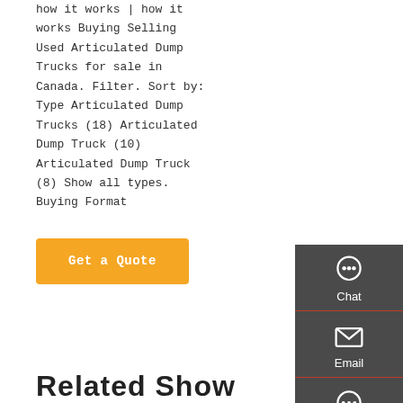how it works | how it works Buying Selling Used Articulated Dump Trucks for sale in Canada. Filter. Sort by: Type Articulated Dump Trucks (18) Articulated Dump Truck (10) Articulated Dump Truck (8) Show all types. Buying Format
[Figure (screenshot): Orange 'Get a Quote' button]
[Figure (screenshot): Dark sidebar with Chat, Email, Contact, and Top navigation icons]
Related Show